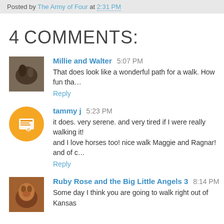Posted by The Army of Four at 2:31 PM
4 COMMENTS:
Millie and Walter  5:07 PM
That does look like a wonderful path for a walk. How fun tha…
Reply
tammy j  5:23 PM
it does. very serene. and very tired if I were really walking it! and I love horses too! nice walk Maggie and Ragnar! and of c…
Reply
Ruby Rose and the Big Little Angels 3  8:14 PM
Some day I think you are going to walk right out of Kansas